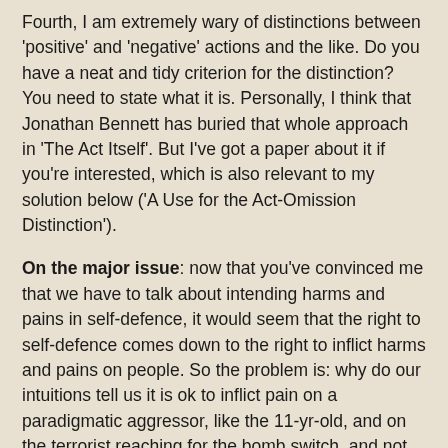Fourth, I am extremely wary of distinctions between 'positive' and 'negative' actions and the like. Do you have a neat and tidy criterion for the distinction? You need to state what it is. Personally, I think that Jonathan Bennett has buried that whole approach in 'The Act Itself'. But I've got a paper about it if you're interested, which is also relevant to my solution below ('A Use for the Act-Omission Distinction').
On the major issue: now that you've convinced me that we have to talk about intending harms and pains in self-defence, it would seem that the right to self-defence comes down to the right to inflict harms and pains on people. So the problem is: why do our intuitions tell us it is ok to inflict pain on a paradigmatic aggressor, like the 11-yr-old, and on the terrorist reaching for the bomb switch, and not ok to torture a terrorist into telling us where the bomb is hidden, and things like that? Let alone the terrorist's otherwise innocent wife, who knows the secret, or the retired bomb-disposal expert, who is reluctant to help. (Nice examples.)
A couple of possibilities come to mind. One is: are the